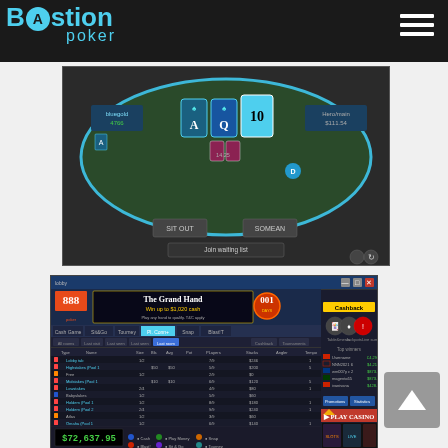Bastion Poker
[Figure (screenshot): Poker table screenshot showing a game in progress with cards A, Q, 10 displayed, player stacks visible, with 'Join waiting list' button]
[Figure (screenshot): 888 Poker client screenshot showing The Grand Hand promotion banner, tournament lobby table list with poker tables, leaderboard sidebar, and $72,637.95 displayed at bottom]